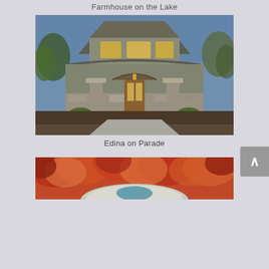Farmhouse on the Lake
[Figure (photo): Exterior photo of a large Prairie-style home with stone pillars, arched entry, warm interior lighting, and manicured landscaping including boxwood shrubs and trees.]
Edina on Parade
[Figure (photo): Partial photo showing autumn foliage with red and orange trees and what appears to be a dome or curved structure below.]